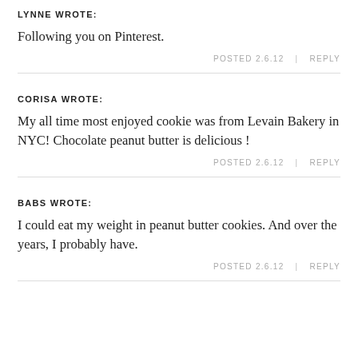LYNNE WROTE:
Following you on Pinterest.
POSTED 2.6.12  |  REPLY
CORISA WROTE:
My all time most enjoyed cookie was from Levain Bakery in NYC! Chocolate peanut butter is delicious !
POSTED 2.6.12  |  REPLY
BABS WROTE:
I could eat my weight in peanut butter cookies. And over the years, I probably have.
POSTED 2.6.12  |  REPLY